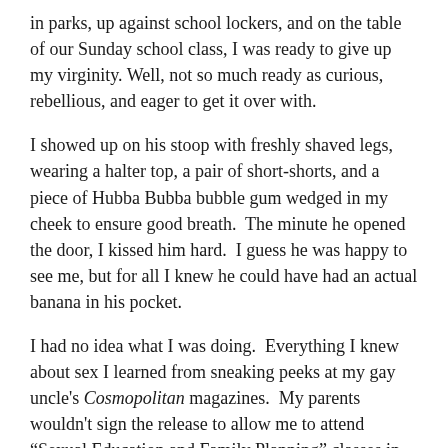in parks, up against school lockers, and on the table of our Sunday school class, I was ready to give up my virginity. Well, not so much ready as curious, rebellious, and eager to get it over with.
I showed up on his stoop with freshly shaved legs, wearing a halter top, a pair of short-shorts, and a piece of Hubba Bubba bubble gum wedged in my cheek to ensure good breath.  The minute he opened the door, I kissed him hard.  I guess he was happy to see me, but for all I knew he could have had an actual banana in his pocket.
I had no idea what I was doing.  Everything I knew about sex I learned from sneaking peeks at my gay uncle's Cosmopolitan magazines.  My parents wouldn't sign the release to allow me to attend "Sexual Education and Family Planning" classes in the 7th grade, nor did we ever have "the talk."